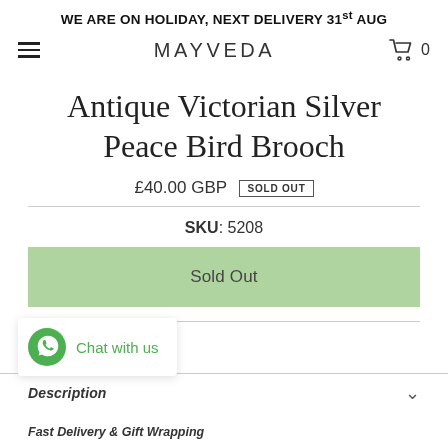WE ARE ON HOLIDAY, NEXT DELIVERY 31st AUG
[Figure (logo): MAYVEDA logo with hamburger menu and cart icon showing 0 items]
Antique Victorian Silver Peace Bird Brooch
£40.00 GBP  SOLD OUT
SKU: 5208
Sold Out
Description
Fast Delivery & Gift Wrapping